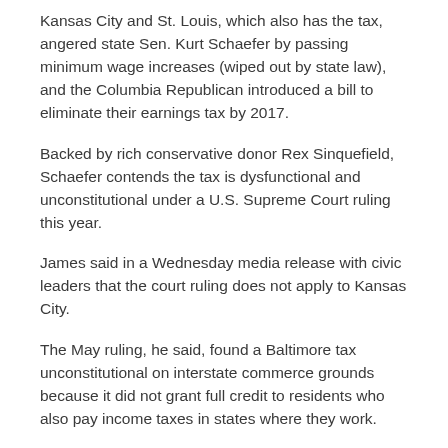Kansas City and St. Louis, which also has the tax, angered state Sen. Kurt Schaefer by passing minimum wage increases (wiped out by state law), and the Columbia Republican introduced a bill to eliminate their earnings tax by 2017.
Backed by rich conservative donor Rex Sinquefield, Schaefer contends the tax is dysfunctional and unconstitutional under a U.S. Supreme Court ruling this year.
James said in a Wednesday media release with civic leaders that the court ruling does not apply to Kansas City.
The May ruling, he said, found a Baltimore tax unconstitutional on interstate commerce grounds because it did not grant full credit to residents who also pay income taxes in states where they work.
Kansas City allows residents a credit for local earnings taxes paid to other cities, the release states, and the ruling does not apply.
Jim Heeter, president of the Greater Kansas City Chamber of Commerce, said, “Sen. Schaefer’s action is wrong-headed and mean-spirited.”
John Sherman, chair of the Civic Council of Greater Kansas City, said